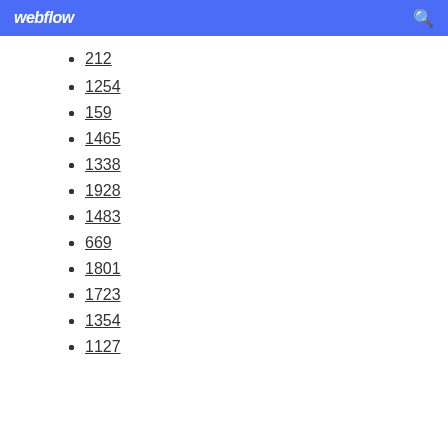webflow
212
1254
159
1465
1338
1928
1483
669
1801
1723
1354
1127